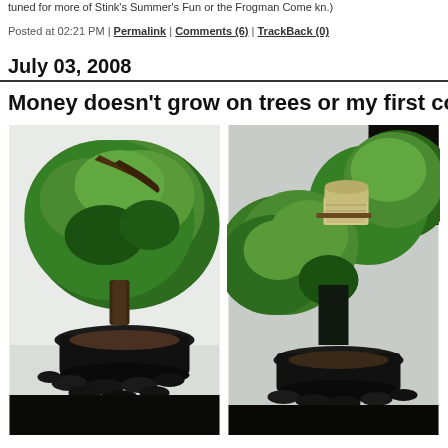tuned for more of Stink's Summer's Fun or the Frogman Come kn.)
Posted at 02:21 PM | Permalink | Comments (6) | TrackBack (0)
July 03, 2008
Money doesn't grow on trees or my first contribution is b
[Figure (photo): Two side-by-side photos of bonsai trees in black pots with small stones. Left photo shows a full bonsai tree with dense green foliage and a dark curved trunk. Right photo shows a close-up of similar bonsai foliage with what appears to be money/bills tucked among the branches.]